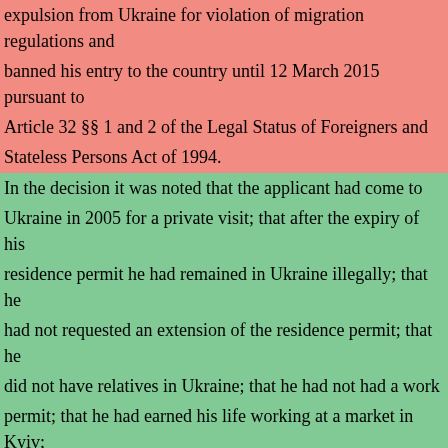expulsion from Ukraine for violation of migration regulations and banned his entry to the country until 12 March 2015 pursuant to Article 32 §§ 1 and 2 of the Legal Status of Foreigners and Stateless Persons Act of 1994.
In the decision it was noted that the applicant had come to Ukraine in 2005 for a private visit; that after the expiry of his residence permit he had remained in Ukraine illegally; that he had not requested an extension of the residence permit; that he did not have relatives in Ukraine; that he had not had a work permit; that he had earned his life working at a market in Kyiv; and that he had been "within the eyesight of the police". The applicant claims that he was not informed about that decision and that he was not aware that subsequently, in May 2010, the police initiated court proceedings for his forcible removal from Ukraine.
In their written submissions made in the course of those